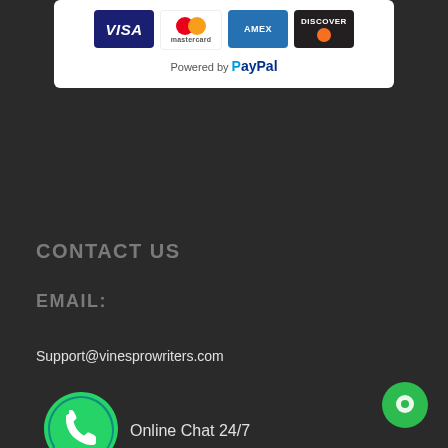[Figure (screenshot): Payment methods box showing Visa, Mastercard, Amex, Discover card logos and Powered by PayPal text on white background]
CONTACT US
EMAIL:
Support@vinesprowriters.com
Online Chat 24/7
[Figure (logo): Green WhatsApp logo icon]
[Figure (logo): Small green circular chat button in bottom right corner]